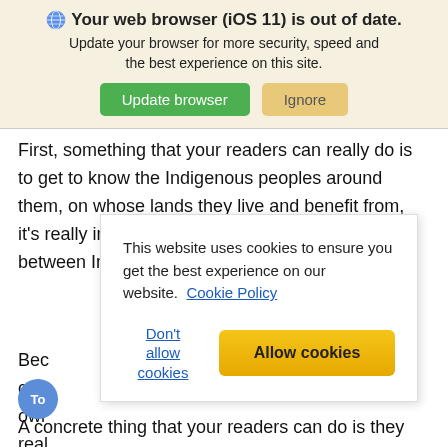Your web browser (iOS 11) is out of date. Update your browser for more security, speed and the best experience on this site. [Update browser] [Ignore]
First, something that your readers can really do is to get to know the Indigenous peoples around them, on whose lands they live and benefit from, it's really important that we start to build bridges between Indi
Bec
con
owr
real
and
[Figure (screenshot): Cookie consent dialog overlay: 'This website uses cookies to ensure you get the best experience on our website. Cookie Policy' with 'Don't allow cookies' and 'Allow cookies' buttons]
A concrete thing that your readers can do is they